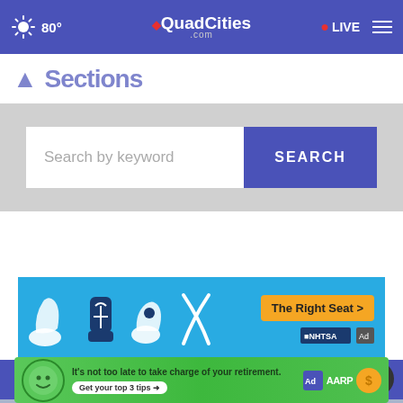80° | QCQuadCities.com | LIVE
Sections (partial, cut off)
Search by keyword
SEARCH
[Figure (infographic): NHTSA 'The Right Seat' child car seat safety advertisement banner on light blue background with car seat icons]
[Figure (logo): YourQuadCities.com footer logo on blue background]
[Figure (infographic): AARP retirement advertisement: 'It's not too late to take charge of your retirement. Get your top 3 tips' with Ad Council and AARP logos, green face emoji mascot]